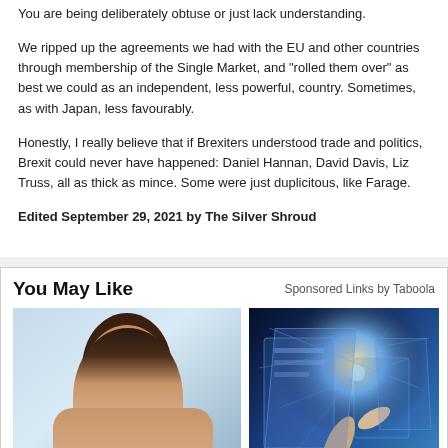You are being deliberately obtuse or just lack understanding.
We ripped up the agreements we had with the EU and other countries through membership of the Single Market, and "rolled them over" as best we could as an independent, less powerful, country. Sometimes, as with Japan, less favourably.
Honestly, I really believe that if Brexiters understood trade and politics, Brexit could never have happened: Daniel Hannan, David Davis, Liz Truss, all as thick as mince. Some were just duplicitous, like Farage.
Edited September 29, 2021 by The Silver Shroud
You May Like
Sponsored Links by Taboola
[Figure (photo): Woman with glasses laughing at laptop computer]
[Figure (photo): Hand pointing at glowing digital network screen]